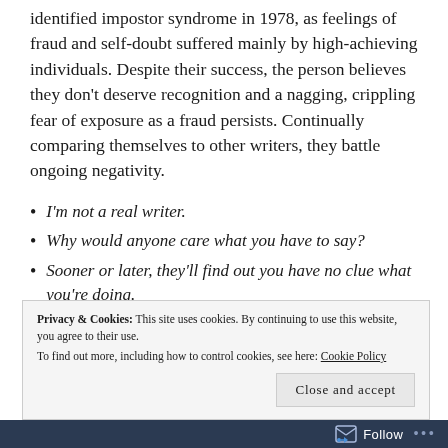identified impostor syndrome in 1978, as feelings of fraud and self-doubt suffered mainly by high-achieving individuals. Despite their success, the person believes they don't deserve recognition and a nagging, crippling fear of exposure as a fraud persists. Continually comparing themselves to other writers, they battle ongoing negativity.
I'm not a real writer.
Why would anyone care what you have to say?
Sooner or later, they'll find out you have no clue what you're doing.
Privacy & Cookies: This site uses cookies. By continuing to use this website, you agree to their use. To find out more, including how to control cookies, see here: Cookie Policy